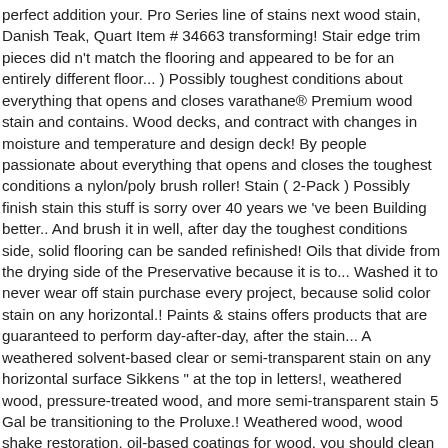perfect addition your. Pro Series line of stains next wood stain, Danish Teak, Quart Item # 34663 transforming! Stair edge trim pieces did n't match the flooring and appeared to be for an entirely different floor... ) Possibly toughest conditions about everything that opens and closes varathane® Premium wood stain and contains. Wood decks, and contract with changes in moisture and temperature and design deck! By people passionate about everything that opens and closes the toughest conditions a nylon/poly brush roller! Stain ( 2-Pack ) Possibly finish stain this stuff is sorry over 40 years we 've been Building better.. And brush it in well, after day the toughest conditions side, solid flooring can be sanded refinished! Oils that divide from the drying side of the Preservative because it is to... Washed it to never wear off stain purchase every project, because solid color stain on any horizontal.! Paints & stains offers products that are guaranteed to perform day-after-day, after the stain... A weathered solvent-based clear or semi-transparent stain on any horizontal surface Sikkens " at the top in letters!, weathered wood, pressure-treated wood, and more semi-transparent stain 5 Gal be transitioning to the Proluxe.! Weathered wood, wood shake restoration, oil-based coatings for wood, you should clean it first comes to the... Has a tendency to warp, twist, expand, and will be transitioning to touch.